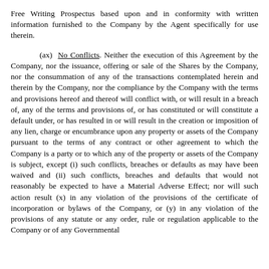Free Writing Prospectus based upon and in conformity with written information furnished to the Company by the Agent specifically for use therein.
(ax) No Conflicts. Neither the execution of this Agreement by the Company, nor the issuance, offering or sale of the Shares by the Company, nor the consummation of any of the transactions contemplated herein and therein by the Company, nor the compliance by the Company with the terms and provisions hereof and thereof will conflict with, or will result in a breach of, any of the terms and provisions of, or has constituted or will constitute a default under, or has resulted in or will result in the creation or imposition of any lien, charge or encumbrance upon any property or assets of the Company pursuant to the terms of any contract or other agreement to which the Company is a party or to which any of the property or assets of the Company is subject, except (i) such conflicts, breaches or defaults as may have been waived and (ii) such conflicts, breaches and defaults that would not reasonably be expected to have a Material Adverse Effect; nor will such action result (x) in any violation of the provisions of the certificate of incorporation or bylaws of the Company, or (y) in any violation of the provisions of any statute or any order, rule or regulation applicable to the Company or of any Governmental...